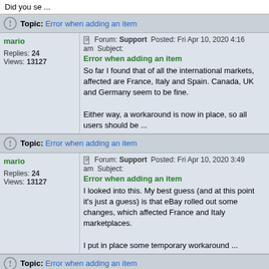Did you se ...
Topic: Error when adding an item
Forum: Support   Posted: Fri Apr 10, 2020 4:16 am   Subject: Error when adding an item
So far I found that of all the international markets, affected are France, Italy and Spain. Canada, UK and Germany seem to be fine.

Either way, a workaround is now in place, so all users should be ...
mario
Replies: 24
Views: 13127
Topic: Error when adding an item
Forum: Support   Posted: Fri Apr 10, 2020 3:49 am   Subject: Error when adding an item
I looked into this. My best guess (and at this point it's just a guess) is that eBay rolled out some changes, which affected France and Italy marketplaces.

I put in place some temporary workaround ...
mario
Replies: 24
Views: 13127
Topic: Error when adding an item
Forum: Support   Posted: Thu Apr 09, 2020 6:10 pm   Subject: Error when adding an item
What is your target site?

This can happen if item id you are trying to add is not available on the marketplace your target is set to.

Try changing your target site to "United States" ( ...
mario
Replies: 24
Views: 13127
Topic: payment option other than paypal
Forum: Suggestions and Ideas   Posted: Sat Apr 04, 2020